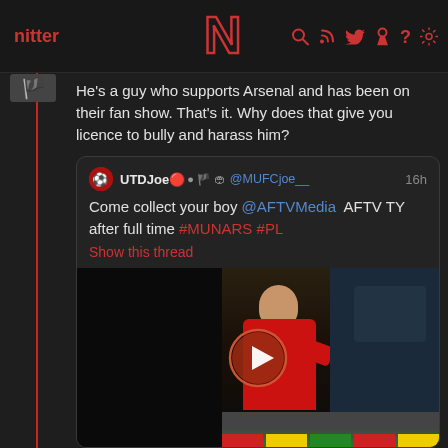nitter  N  (nav icons)
He's a guy who supports Arsenal and has been on their fan show. That's it. Why does that give you licence to bully and harass him?
UTDJoe🔴● 🏴 🏟 @MUFCjoe__ 16h
Come collect your boy @AFTVMedia  AFTV TY after full time #MUNARS #PL
Show this thread
[Figure (screenshot): Video thumbnail showing two people interacting, one in a red Manchester United kit smiling, the other in a dark blue jacket. A red/orange circular play button is overlaid in the center.]